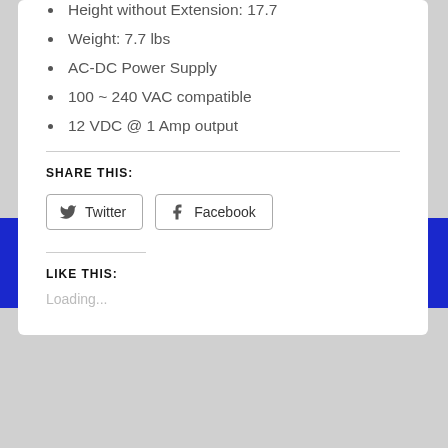Height without Extension: 17.7
Weight: 7.7 lbs
AC-DC Power Supply
100 ~ 240 VAC compatible
12 VDC @ 1 Amp output
SHARE THIS:
Twitter  Facebook
LIKE THIS:
Loading...